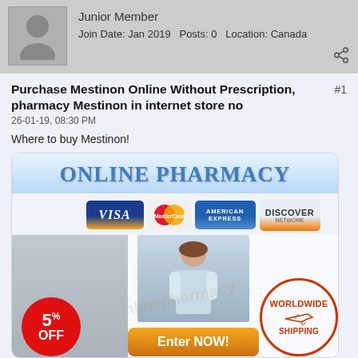[Figure (photo): User avatar silhouette placeholder gray icon]
Junior Member
Join Date: Jan 2019   Posts: 0   Location: Canada
Purchase Mestinon Online Without Prescription, pharmacy Mestinon in internet store no
#1
26-01-19, 08:30 PM
Where to buy Mestinon!
[Figure (infographic): Online Pharmacy banner showing credit card logos (VISA, MasterCard, American Express, Discover), pharmacist photo, Enter NOW button, 5% OFF circle badge, and Worldwide Shipping stamp]